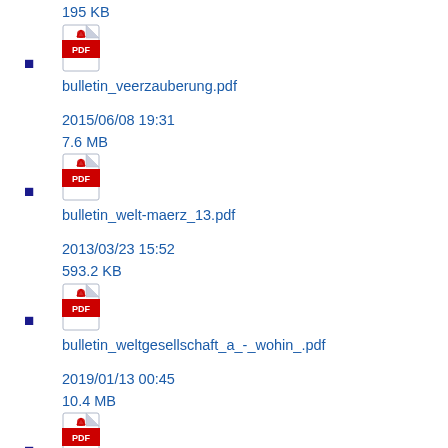195 KB
bulletin_veerzauberung.pdf
2015/06/08 19:31
7.6 MB
bulletin_welt-maerz_13.pdf
2013/03/23 15:52
593.2 KB
bulletin_weltgesellschaft_a_-_wohin_.pdf
2019/01/13 00:45
10.4 MB
bulletin_weltklang_january_13.pdf